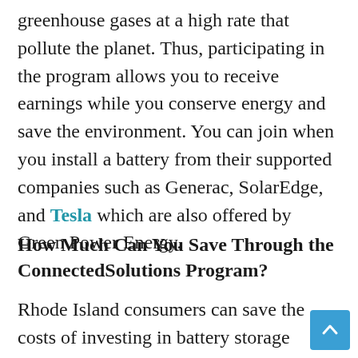greenhouse gases at a high rate that pollute the planet. Thus, participating in the program allows you to receive earnings while you conserve energy and save the environment. You can join when you install a battery from their supported companies such as Generac, SolarEdge, and Tesla which are also offered by Green Power Energy.
How Much Can You Save Through the ConnectedSolutions Program?
Rhode Island consumers can save the costs of investing in battery storage systems with this program. The initial installation of this syste starts at $13,000. On the other hand, it costs